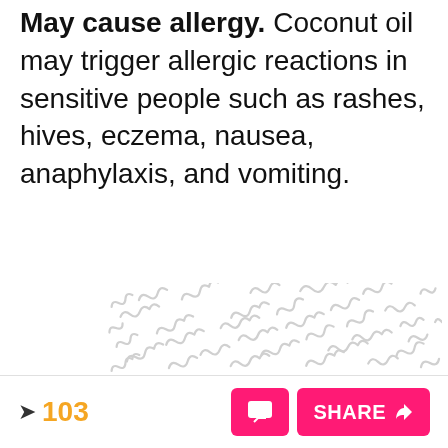May cause allergy. Coconut oil may trigger allergic reactions in sensitive people such as rashes, hives, eczema, nausea, anaphylaxis, and vomiting.
[Figure (illustration): A watermark-style background pattern of repeating grey squiggly/wavy line symbols arranged in a scattered pattern across the image area.]
103  [chat button]  SHARE